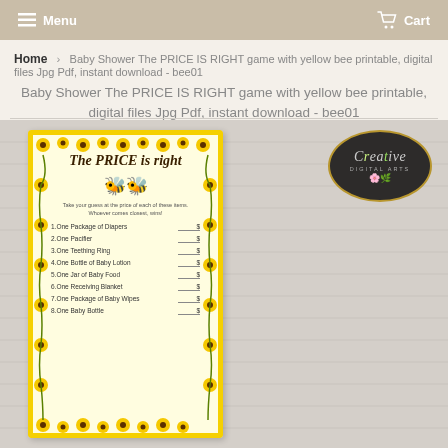Menu  Cart
Home › Baby Shower The PRICE IS RIGHT game with yellow bee printable, digital files Jpg Pdf, instant download - bee01
[Figure (photo): Product listing image showing a baby shower 'The Price is Right' game card with yellow bee theme, decorated with sunflowers and cartoon bees. The card lists baby items with price blanks. A Creative Digital Arts logo overlay appears in top right corner.]